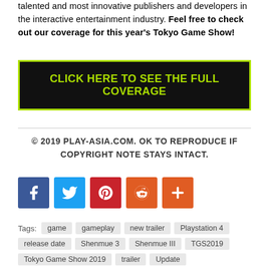talented and most innovative publishers and developers in the interactive entertainment industry. Feel free to check out our coverage for this year's Tokyo Game Show!
CLICK HERE TO SEE THE FULL COVERAGE
© 2019 PLAY-ASIA.COM. OK TO REPRODUCE IF COPYRIGHT NOTE STAYS INTACT.
[Figure (infographic): Social media share icons: Facebook (blue), Twitter (light blue), Pinterest (red), Reddit (orange), More/Plus (orange)]
Tags: game  gameplay  new trailer  Playstation 4
release date  Shenmue 3  Shenmue III  TGS2019
Tokyo Game Show 2019  trailer  Update